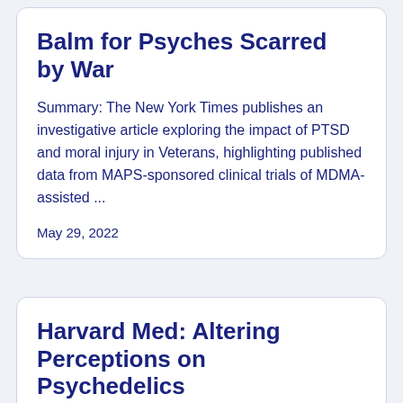Balm for Psyches Scarred by War
Summary: The New York Times publishes an investigative article exploring the impact of PTSD and moral injury in Veterans, highlighting published data from MAPS-sponsored clinical trials of MDMA-assisted ...
May 29, 2022
Harvard Med: Altering Perceptions on Psychedelics